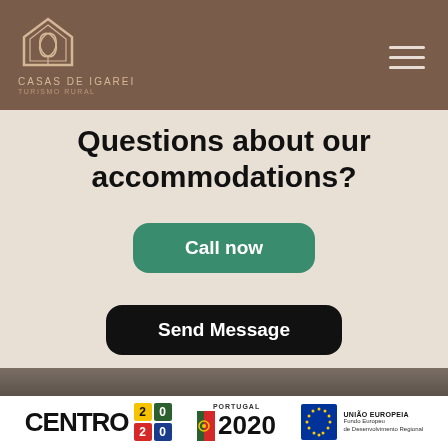CASAS DE IGAREI | TURISMO RURAL
Questions about our accommodations?
Call now
Send Message
[Figure (logo): Footer logos: CENTRO 2020, PORTUGAL 2020, EU (UNIÃO EUROPEIA - Fundo Europeu de Desenvolvimento Regional)]
UNIÃO EUROPEIA | Fundo Europeu de Desenvolvimento Regional